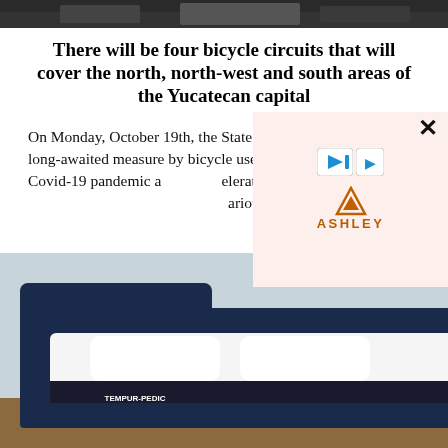[Figure (photo): Dark photo strip at top of page, partially visible]
There will be four bicycle circuits that will cover the north, north-west and south areas of the Yucatecan capital
On Monday, October 19th, the State Government announced a long-awaited measure by bicycle users in Yucatán and that the Covid-19 pandemic accelerated: the [various] [generate] [motorists] [tion, which] [he end of] [efits citizens] [ms of] [avoiding]
[Figure (photo): Advertisement showing a Tempur-Pedic bed with dark blue headboard in a stylish bedroom setting. Ashley Furniture logo overlay with close button visible.]